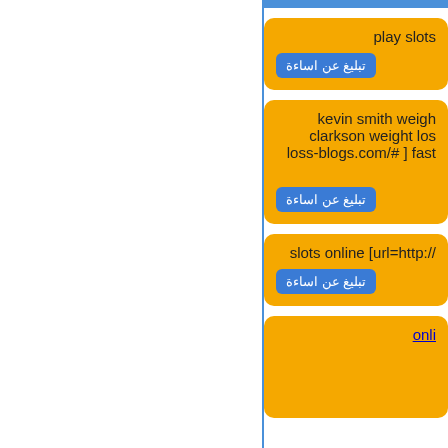play slots
تبليغ عن اساءة
kevin smith weigh clarkson weight los loss-blogs.com/# ] fast
تبليغ عن اساءة
slots online [url=http://
تبليغ عن اساءة
onli